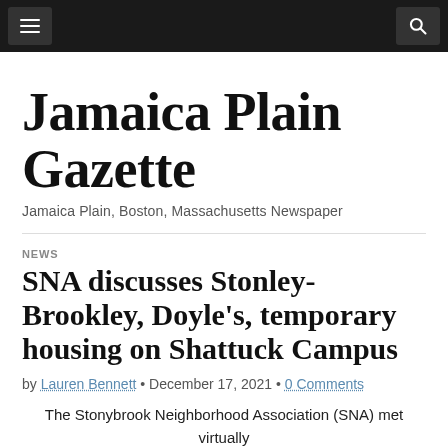Jamaica Plain Gazette – navigation bar with menu and search icons
Jamaica Plain Gazette
Jamaica Plain, Boston, Massachusetts Newspaper
NEWS
SNA discusses Stonley-Brookley, Doyle's, temporary housing on Shattuck Campus
by Lauren Bennett • December 17, 2021 • 0 Comments
The Stonybrook Neighborhood Association (SNA) met virtually